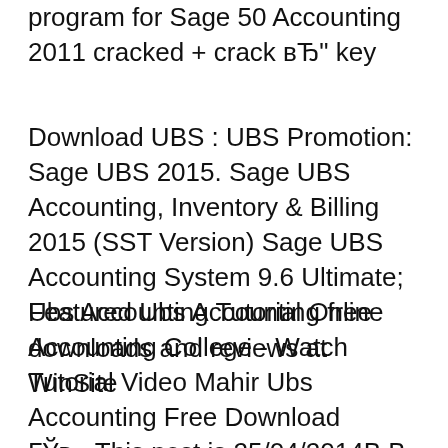program for Sage 50 Accounting 2011 cracked + crack вЂ" key
Download UBS : UBS Promotion: Sage UBS 2015. Sage UBS Accounting, Inventory & Billing 2015 (SST Version) Sage UBS Accounting System 9.6 Ultimate; Featured Ubs Accounting free downloads and reviews at WinSite
Ubs Accounting Tutorial Online Accounting College - Watch Tutorial Video Mahir Ubs Accounting Free Download ГЎв,¬This post is 25/04/2014В В· Free Download UBS Accounting - The first step to a computerized business